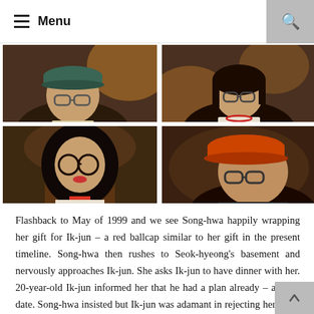Menu
[Figure (photo): Four-image grid of Korean drama stills: top-left shows a young man with glasses and green hat; top-right shows a young woman with glasses; bottom-left shows a woman with long dark hair and large glasses; bottom-right shows a man with glasses and orange hat.]
Flashback to May of 1999 and we see Song-hwa happily wrapping her gift for Ik-jun – a red ballcap similar to her gift in the present timeline. Song-hwa then rushes to Seok-hyeong's basement and nervously approaches Ik-jun. She asks Ik-jun to have dinner with her. 20-year-old Ik-jun informed her that he had a plan already – a blind date. Song-hwa insisted but Ik-jun was adamant in rejecting her offer. Song-hwa left the basement in tears with Ik-jun following